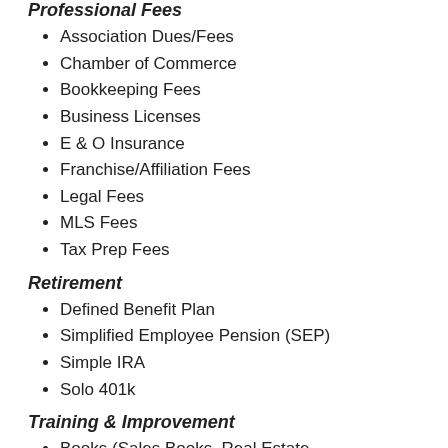Professional Fees
Association Dues/Fees
Chamber of Commerce
Bookkeeping Fees
Business Licenses
E & O Insurance
Franchise/Affiliation Fees
Legal Fees
MLS Fees
Tax Prep Fees
Retirement
Defined Benefit Plan
Simplified Employee Pension (SEP)
Simple IRA
Solo 401k
Training & Improvement
Books (Sales Books, Real Estate Books, etc.)